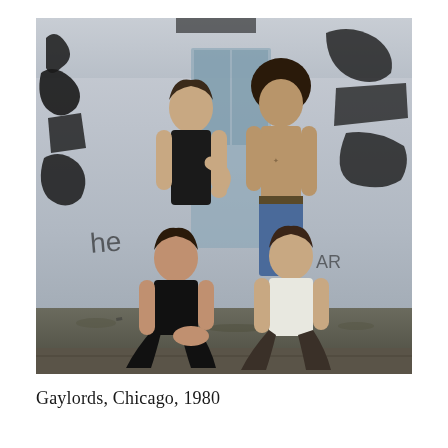[Figure (photo): Four young men posing in front of a graffiti-covered wall. Two stand in the back row: one wearing a black sleeveless shirt, one shirtless in jeans. Two crouch in the front row: one in a black tank top, one in a white t-shirt. The setting appears to be an urban alley or back street with debris on the ground.]
Gaylords, Chicago, 1980